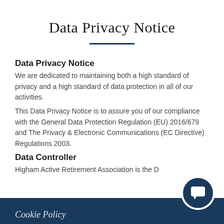Data Privacy Notice
Data Privacy Notice
We are dedicated to maintaining both a high standard of privacy and a high standard of data protection in all of our activities.
This Data Privacy Notice is to assure you of our compliance with the General Data Protection Regulation (EU) 2016/679 and The Privacy & Electronic Communications (EC Directive) Regulations 2003.
Data Controller
Higham Active Retirement Association is the D…
Cookie Policy